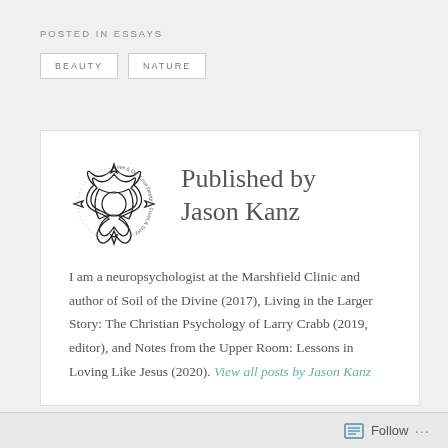POSTED IN ESSAYS
BEAUTY
NATURE
Published by Jason Kanz
I am a neuropsychologist at the Marshfield Clinic and author of Soil of the Divine (2017), Living in the Larger Story: The Christian Psychology of Larry Crabb (2019, editor), and Notes from the Upper Room: Lessons in Loving Like Jesus (2020). View all posts by Jason Kanz
Follow